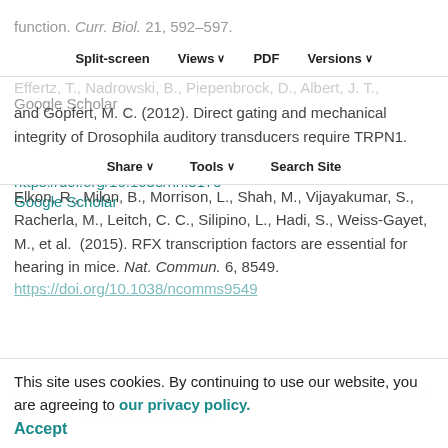function. Curr. Biol. 21, 592–597. https://doi.org/10.1016/j.cub.2011.02.048 Google Scholar
Split-screen | Views | PDF | Versions | Share | Tools | Search Site
Effertz, T., Nadrowski, B., Piepenbrock, D., Albert, J. T., and Göpfert, M. C. (2012). Direct gating and mechanical integrity of Drosophila auditory transducers require TRPN1. Nat. Neurosci. 15, 1198-1200. https://doi.org/10.1038/nn.3175 Google Scholar
Elkon, R., Milon, B., Morrison, L., Shah, M., Vijayakumar, S., Racherla, M., Leitch, C. C., Silipino, L., Hadi, S., Weiss-Gayet, M., et al. (2015). RFX transcription factors are essential for hearing in mice. Nat. Commun. 6, 8549. https://doi.org/10.1038/ncomms9549
This site uses cookies. By continuing to use our website, you are agreeing to our privacy policy. Accept
Fettiplace, R. (2016). Is TMC1 the hair cell mechanotransducer channel? Biophys. J. 111, 3-9.